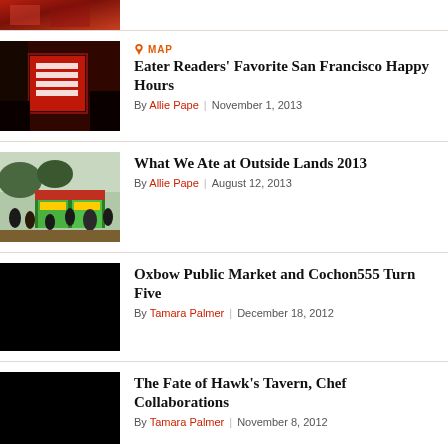[Figure (photo): Partial cropped red decorative image at top]
[Figure (photo): Red bar interior with happy hour sign reading EVERY HOUR'S]
MAP
Eater Readers' Favorite San Francisco Happy Hours
By Allie Pape | November 1, 2013
[Figure (photo): Outdoor festival food vendor area with colorful stalls and crowd]
What We Ate at Outside Lands 2013
By Allie Pape | August 12, 2013
[Figure (photo): Black image placeholder for Oxbow Public Market]
Oxbow Public Market and Cochon555 Turn Five
By Tamara Palmer | December 18, 2012
[Figure (photo): Black image placeholder for Hawk's Tavern]
The Fate of Hawk's Tavern, Chef Collaborations
By Tamara Palmer | November 8, 2012